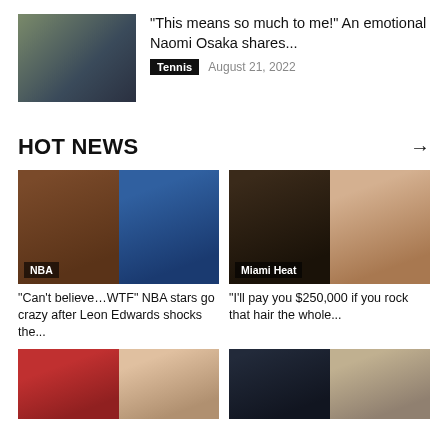[Figure (photo): Thumbnail photo of Naomi Osaka and others]
“This means so much to me!” An emotional Naomi Osaka shares...
Tennis  August 21, 2022
HOT NEWS
[Figure (photo): NBA photo collage: boxing/MMA fighter on left, Karl-Anthony Towns in Wolves #32 jersey on right, with NBA label]
“Can’t believe…WTF” NBA stars go crazy after Leon Edwards shocks the...
[Figure (photo): Miami Heat photo collage: fighter leaning over on left, Jake Paul boxing pose on right, with Miami Heat label]
“I’ll pay you $250,000 if you rock that hair the whole...
[Figure (photo): Bottom left photo: basketball player with arms raised in red jersey]
[Figure (photo): Bottom right photo: Kevin Durant in Brooklyn Nets jersey and another man]